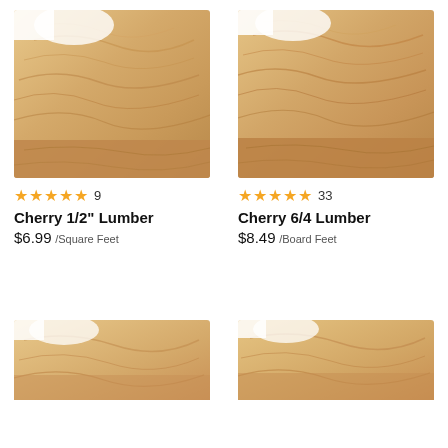[Figure (photo): Cherry 1/2 inch lumber board, light wood grain, angled perspective view]
[Figure (photo): Cherry 6/4 lumber board, light wood grain, angled perspective view]
★★★★★ 9
Cherry 1/2" Lumber
$6.99 /Square Feet
★★★★★ 33
Cherry 6/4 Lumber
$8.49 /Board Feet
[Figure (photo): Partial cherry lumber board, light wood grain, bottom of page, cropped]
[Figure (photo): Partial cherry lumber board, light wood grain, bottom of page, cropped]